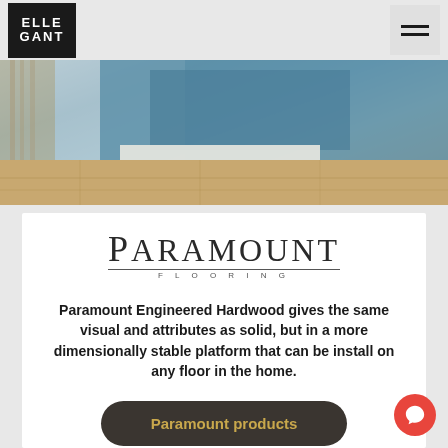[Figure (logo): ELLE GANT logo — white text on black square background]
[Figure (photo): Interior bedroom photo showing hardwood floor with blue bedding and curtains visible]
[Figure (logo): Paramount Flooring logo with serif font and thin horizontal rules]
Paramount Engineered Hardwood gives the same visual and attributes as solid, but in a more dimensionally stable platform that can be install on any floor in the home.
[Figure (other): Dark rounded button with gold text reading 'Paramount products']